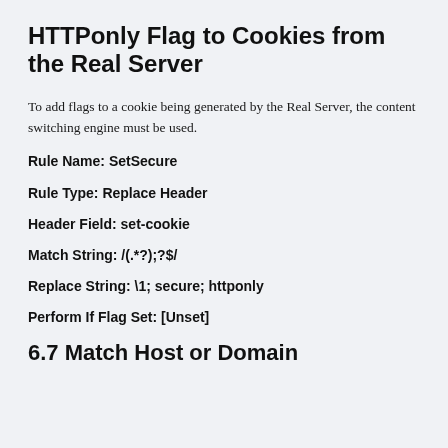HTTPonly Flag to Cookies from the Real Server
To add flags to a cookie being generated by the Real Server, the content switching engine must be used.
Rule Name: SetSecure
Rule Type: Replace Header
Header Field: set-cookie
Match String: /(.*?);?$/
Replace String: \1; secure; httponly
Perform If Flag Set: [Unset]
6.7 Match Host or Domain